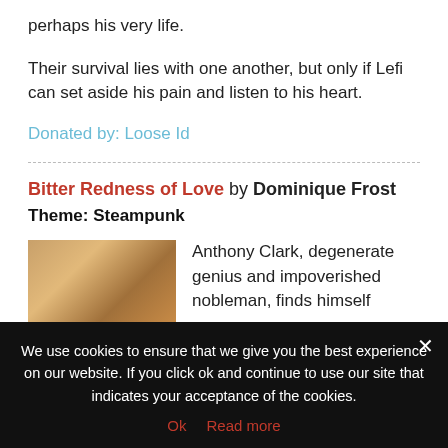perhaps his very life.
Their survival lies with one another, but only if Lefi can set aside his pain and listen to his heart.
Donated by: Loose Id
Bitter Redness of Love by Dominique Frost
Theme: Steampunk
[Figure (photo): Book cover image showing a figure with golden/blonde hair]
Anthony Clark, degenerate genius and impoverished nobleman, finds himself
We use cookies to ensure that we give you the best experience on our website. If you click ok and continue to use our site that indicates your acceptance of the cookies.
Ok   Read more